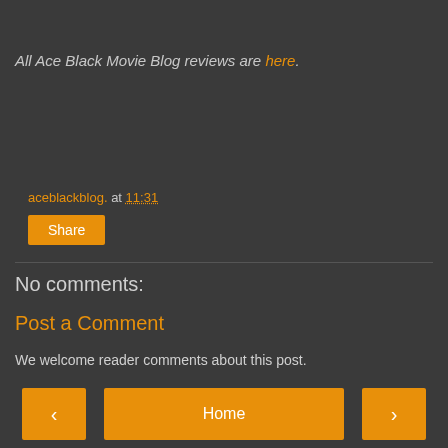All Ace Black Movie Blog reviews are here.
aceblackblog. at 11:31
Share
No comments:
Post a Comment
We welcome reader comments about this post.
Home | View web version | Powered by Blogger.